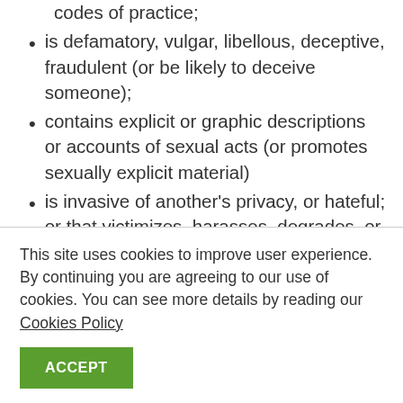codes of practice;
is defamatory, vulgar, libellous, deceptive, fraudulent (or be likely to deceive someone);
contains explicit or graphic descriptions or accounts of sexual acts (or promotes sexually explicit material)
is invasive of another's privacy, or hateful; or that victimizes, harasses, degrades, or intimidates an individual or group of individuals on the basis of religion, gender, sexual orientation,
This site uses cookies to improve user experience. By continuing you are agreeing to our use of cookies. You can see more details by reading our Cookies Policy
ACCEPT